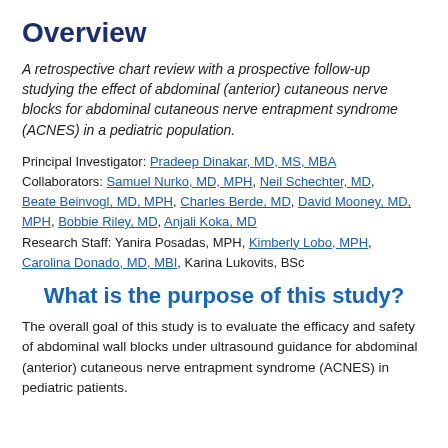Overview
A retrospective chart review with a prospective follow-up studying the effect of abdominal (anterior) cutaneous nerve blocks for abdominal cutaneous nerve entrapment syndrome (ACNES) in a pediatric population.
Principal Investigator: Pradeep Dinakar, MD, MS, MBA
Collaborators: Samuel Nurko, MD, MPH, Neil Schechter, MD, Beate Beinvogl, MD, MPH, Charles Berde, MD, David Mooney, MD, MPH, Bobbie Riley, MD, Anjali Koka, MD
Research Staff: Yanira Posadas, MPH, Kimberly Lobo, MPH, Carolina Donado, MD, MBI, Karina Lukovits, BSc
What is the purpose of this study?
The overall goal of this study is to evaluate the efficacy and safety of abdominal wall blocks under ultrasound guidance for abdominal (anterior) cutaneous nerve entrapment syndrome (ACNES) in pediatric patients.